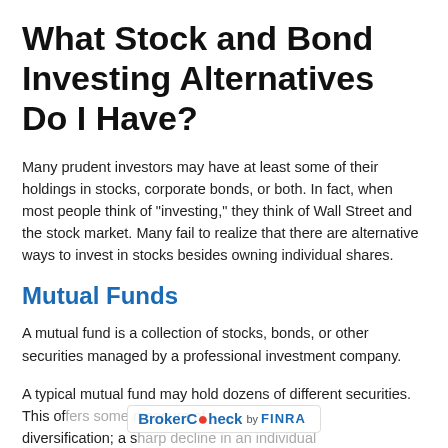What Stock and Bond Investing Alternatives Do I Have?
Many prudent investors may have at least some of their holdings in stocks, corporate bonds, or both. In fact, when most people think of “investing,” they think of Wall Street and the stock market. Many fail to realize that there are alternative ways to invest in stocks besides owning individual shares.
Mutual Funds
A mutual fund is a collection of stocks, bonds, or other securities managed by a professional investment company.
A typical mutual fund may hold dozens of different securities. This offers some measure of diversification; a sharp decline in an individual
[Figure (logo): BrokerCheck by FINRA logo overlay appearing over the bottom text of the page]